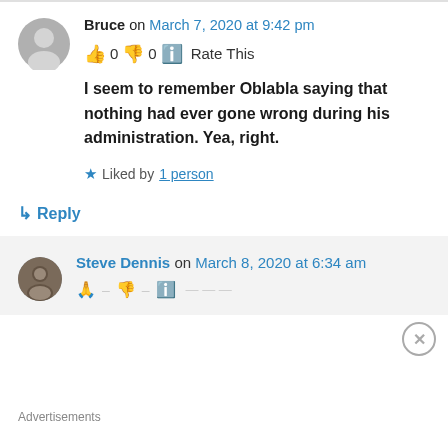Bruce on March 7, 2020 at 9:42 pm
👍 0 👎 0 ℹ Rate This
I seem to remember Oblabla saying that nothing had ever gone wrong during his administration. Yea, right.
★ Liked by 1 person
↳ Reply
Steve Dennis on March 8, 2020 at 6:34 am
Advertisements